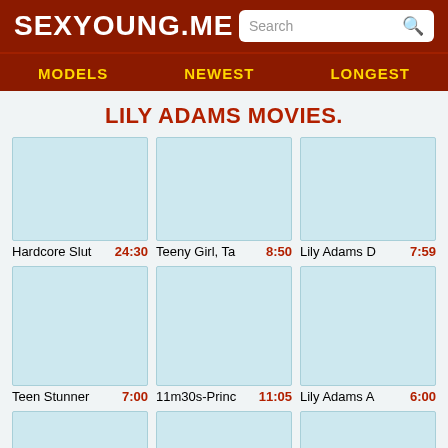SEXYOUNG.ME
MODELS  NEWEST  LONGEST
LILY ADAMS MOVIES.
[Figure (other): Video thumbnail placeholder 1]
[Figure (other): Video thumbnail placeholder 2]
[Figure (other): Video thumbnail placeholder 3]
Hardcore Slut  24:30
Teeny Girl, Ta  8:50
Lily Adams D  7:59
[Figure (other): Video thumbnail placeholder 4]
[Figure (other): Video thumbnail placeholder 5]
[Figure (other): Video thumbnail placeholder 6]
Teen Stunner  7:00
11m30s-Princ  11:05
Lily Adams A  6:00
[Figure (other): Video thumbnail placeholder bottom row]
[Figure (other): Video thumbnail placeholder bottom row]
[Figure (other): Video thumbnail placeholder bottom row]